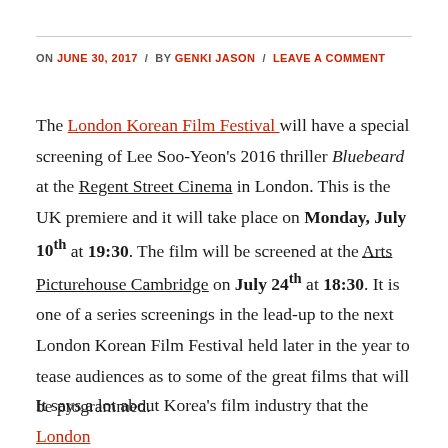ON JUNE 30, 2017 / BY GENKI JASON / LEAVE A COMMENT
The London Korean Film Festival will have a special screening of Lee Soo-Yeon's 2016 thriller Bluebeard at the Regent Street Cinema in London. This is the UK premiere and it will take place on Monday, July 10th at 19:30. The film will be screened at the Arts Picturehouse Cambridge on July 24th at 18:30. It is one of a series screenings in the lead-up to the next London Korean Film Festival held later in the year to tease audiences as to some of the great films that will be programmed.
It says a lot about Korea's film industry that the London